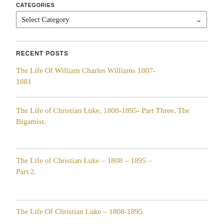CATEGORIES
Select Category
RECENT POSTS
The Life Of William Charles Williams 1807-1881
The Life of Christian Luke, 1808-1895- Part Three, The Bigamist.
The Life of Christian Luke – 1808 – 1895 – Part 2.
The Life Of Christian Luke – 1808-1895